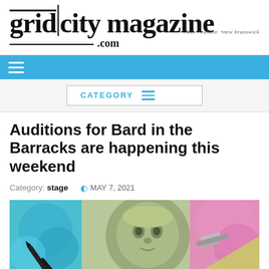[Figure (logo): Grid City Magazine logo with divider line, .com tagline, and 'arts culture new brunswick' subtitle]
[Figure (screenshot): Blue navigation bar with white hamburger menu icon]
[Figure (screenshot): Category filter box with blue text CATEGORY and three blue lines icon]
Auditions for Bard in the Barracks are happening this weekend
Category: stage   MAY 7, 2021
[Figure (photo): Colorful collage image featuring a Shakespeare-like figure on currency with artistic background of teal, pink and pastel colors, with pencils/pens overlaid]